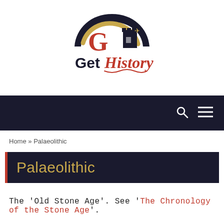[Figure (logo): Get History website logo: stylized helmet and castle motif with 'Get History' text below in black and red]
Navigation bar with search and menu icons
Home » Palaeolithic
Palaeolithic
The 'Old Stone Age'. See 'The Chronology of the Stone Age'.